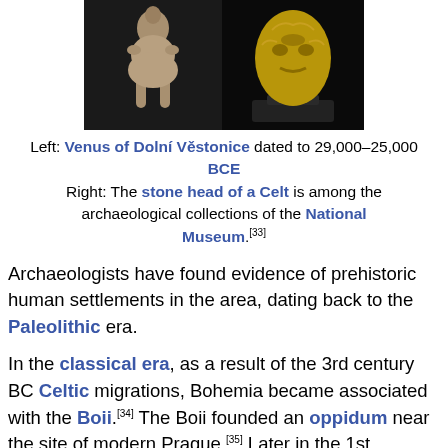[Figure (photo): Two artifact photos side by side. Left: Venus of Dolní Věstonice figurine on dark background. Right: Stone head of a Celt on black background displayed on a stand.]
Left: Venus of Dolní Věstonice dated to 29,000–25,000 BCE Right: The stone head of a Celt is among the archaeological collections of the National Museum.[33]
Archaeologists have found evidence of prehistoric human settlements in the area, dating back to the Paleolithic era.
In the classical era, as a result of the 3rd century BC Celtic migrations, Bohemia became associated with the Boii.[34] The Boii founded an oppidum near the site of modern Prague.[35] Later in the 1st